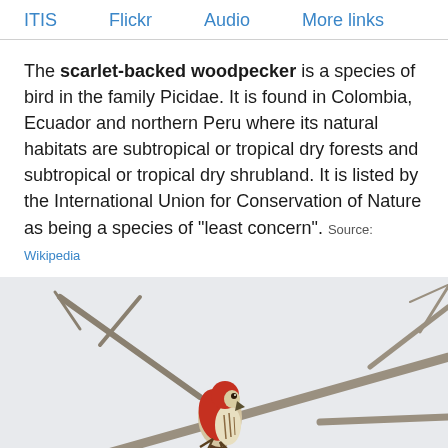ITIS   Flickr   Audio   More links
The scarlet-backed woodpecker is a species of bird in the family Picidae. It is found in Colombia, Ecuador and northern Peru where its natural habitats are subtropical or tropical dry forests and subtropical or tropical dry shrubland. It is listed by the International Union for Conservation of Nature as being a species of "least concern". Source: Wikipedia
[Figure (photo): Photograph of a scarlet-backed woodpecker perched on bare tree branches against a light grey sky background. The bird has a red/scarlet back and head with white and brown coloring on its breast.]